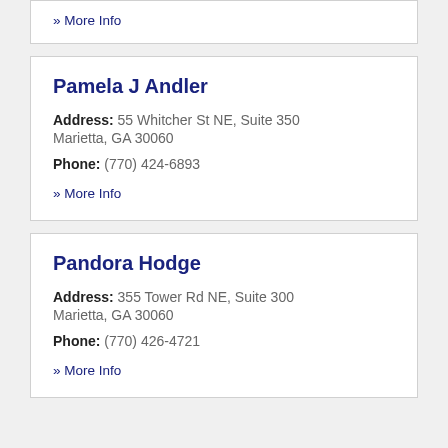» More Info
Pamela J Andler
Address: 55 Whitcher St NE, Suite 350 Marietta, GA 30060
Phone: (770) 424-6893
» More Info
Pandora Hodge
Address: 355 Tower Rd NE, Suite 300 Marietta, GA 30060
Phone: (770) 426-4721
» More Info